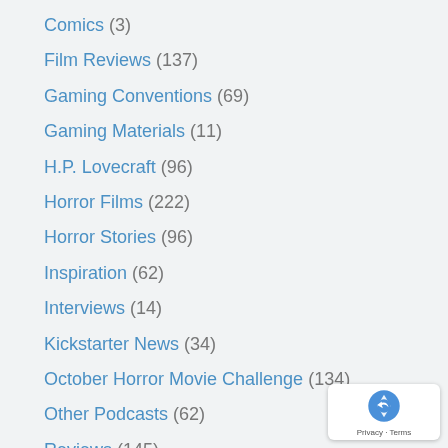Comics (3)
Film Reviews (137)
Gaming Conventions (69)
Gaming Materials (11)
H.P. Lovecraft (96)
Horror Films (222)
Horror Stories (96)
Inspiration (62)
Interviews (14)
Kickstarter News (34)
October Horror Movie Challenge (134)
Other Podcasts (62)
Reviews (145)